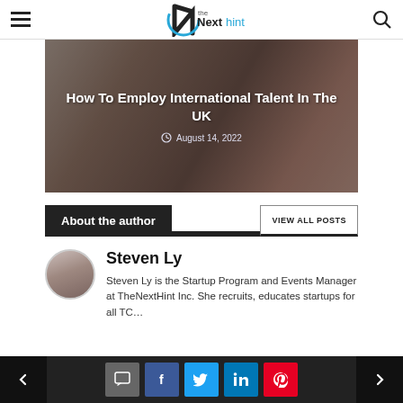TheNextHint — navigation bar with hamburger menu, logo, and search icon
[Figure (photo): Hero image of people working on laptops at a table with dark overlay, showing article title 'How To Employ International Talent In The UK' and date 'August 14, 2022']
How To Employ International Talent In The UK
August 14, 2022
About the author
VIEW ALL POSTS
Steven Ly
Steven Ly is the Startup Program and Events Manager at TheNextHint Inc. She recruits, educates startups for all TC…
Navigation: previous, social share buttons (comment, Facebook, Twitter, LinkedIn, Pinterest), next